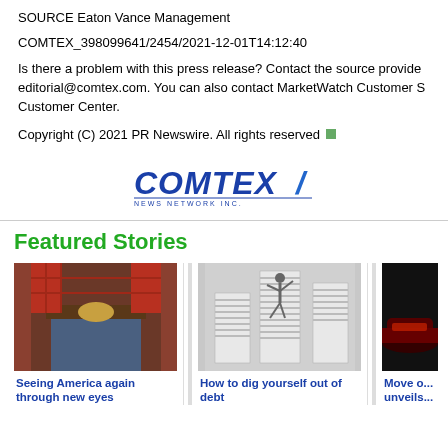SOURCE Eaton Vance Management
COMTEX_398099641/2454/2021-12-01T14:12:40
Is there a problem with this press release? Contact the source provider at editorial@comtex.com. You can also contact MarketWatch Customer Service Customer Center.
Copyright (C) 2021 PR Newswire. All rights reserved
[Figure (logo): COMTEX News Network Inc. logo in blue and dark blue text with italic styling]
Featured Stories
[Figure (photo): Person wearing jeans with a decorative belt buckle featuring an eagle design, red plaid shirt]
Seeing America again through new eyes
[Figure (photo): Person climbing a tall stack of papers/documents, concept image for debt]
How to dig yourself out of debt
[Figure (photo): Dark image of a red sports car, partial view]
Move o... unveils...